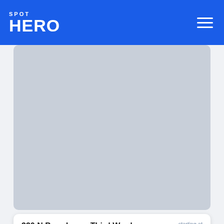SPOT HERO
[Figure (photo): Gray placeholder image for parking lot photo]
330 N Broadway - Third Ward Lot
starting at $17.50
Excellent (203)
151 ft
[Figure (photo): Gray placeholder image for second parking lot photo]